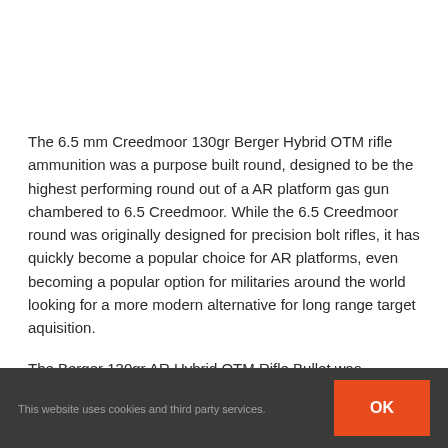The 6.5 mm Creedmoor 130gr Berger Hybrid OTM rifle ammunition was a purpose built round, designed to be the highest performing round out of a AR platform gas gun chambered to 6.5 Creedmoor. While the 6.5 Creedmoor round was originally designed for precision bolt rifles, it has quickly become a popular choice for AR platforms, even becoming a popular option for militaries around the world looking for a more modern alternative for long range target aquisition.
The Berger 130gr AR Hybrid OTM Rifle Bullet was...
This website uses cookies and third party services.